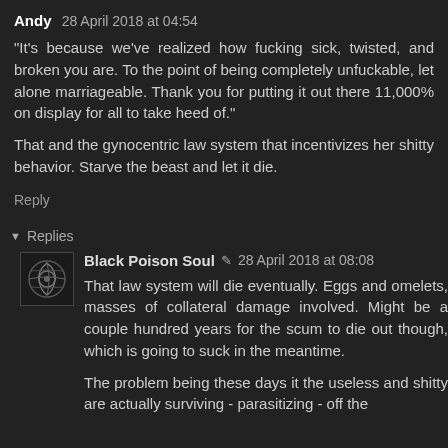Andy 28 April 2018 at 04:54
"It's because we've realized how fucking sick, twisted, and broken you are. To the point of being completely unfuckable, let alone marriageable. Thank you for putting it out there 11,000% on display for all to take heed of."
That and the gynocentric law system that incentivizes her shitty behavior. Starve the beast and let it die.
Reply
Replies
Black Poison Soul 28 April 2018 at 08:08
That law system will die eventually. Eggs and omelets, masses of collateral damage involved. Might be a couple hundred years for the scum to die out though, which is going to suck in the meantime.
The problem being these days it the useless and shitty are actually surviving - parasitizing - off the